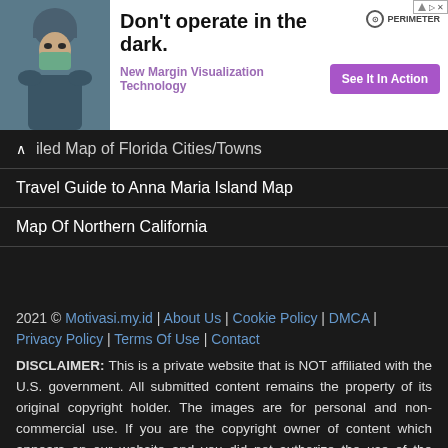[Figure (other): Advertisement banner: surgeon photo on left, headline 'Don't operate in the dark.', subheading 'New Margin Visualization Technology', PERIMETER logo top right, purple 'See It In Action' CTA button, small ad badge top right corner]
iled Map of Florida Cities/Towns
Travel Guide to Anna Maria Island Map
Map Of Northern California
2021 © Motivasi.my.id | About Us | Cookie Policy | DMCA | Privacy Policy | Terms Of Use | Contact
DISCLAIMER: This is a private website that is NOT affiliated with the U.S. government. All submitted content remains the property of its original copyright holder. The images are for personal and non-commercial use. If you are the copyright owner of content which appears on our website and you did not authorize the use of the content, you must notify us by contacting us to identify the alleged infringing content and take action.